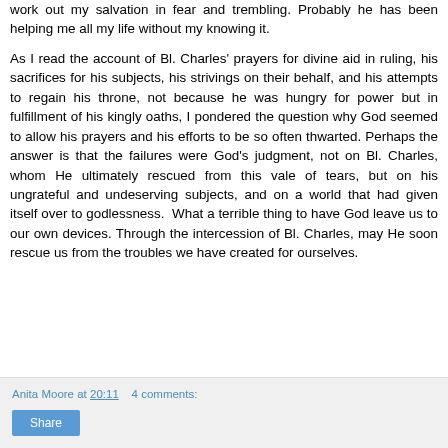work out my salvation in fear and trembling. Probably he has been helping me all my life without my knowing it.
As I read the account of Bl. Charles' prayers for divine aid in ruling, his sacrifices for his subjects, his strivings on their behalf, and his attempts to regain his throne, not because he was hungry for power but in fulfillment of his kingly oaths, I pondered the question why God seemed to allow his prayers and his efforts to be so often thwarted. Perhaps the answer is that the failures were God's judgment, not on Bl. Charles, whom He ultimately rescued from this vale of tears, but on his ungrateful and undeserving subjects, and on a world that had given itself over to godlessness.  What a terrible thing to have God leave us to our own devices. Through the intercession of Bl. Charles, may He soon rescue us from the troubles we have created for ourselves.
Anita Moore at 20:11    4 comments:  [Share]